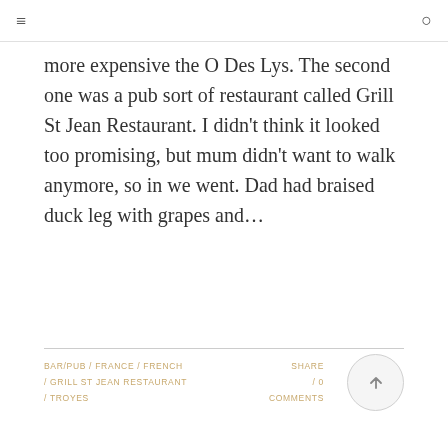≡  ○
more expensive the O Des Lys. The second one was a pub sort of restaurant called Grill St Jean Restaurant. I didn't think it looked too promising, but mum didn't want to walk anymore, so in we went. Dad had braised duck leg with grapes and…
BAR/PUB / FRANCE / FRENCH / GRILL ST JEAN RESTAURANT / TROYES
SHARE / 0 COMMENTS